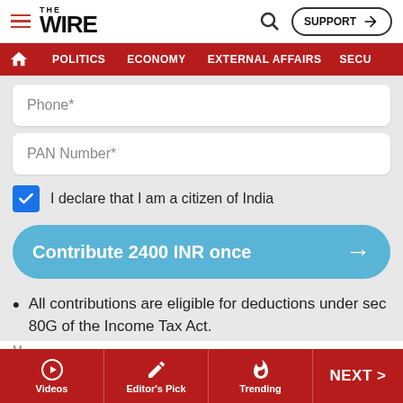THE WIRE — Navigation: POLITICS, ECONOMY, EXTERNAL AFFAIRS, SECU...
Phone*
PAN Number*
I declare that I am a citizen of India
Contribute 2400 INR once
All contributions are eligible for deductions under sec 80G of the Income Tax Act.
Videos | Editor's Pick | Trending | NEXT >